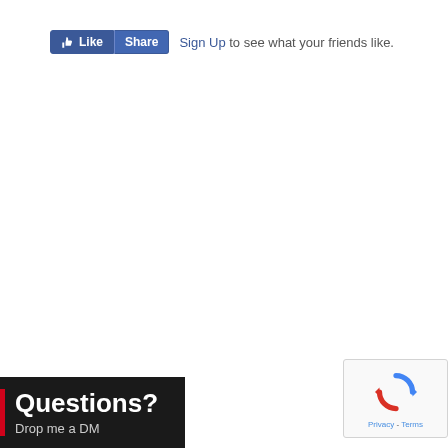[Figure (screenshot): Facebook Like and Share buttons followed by 'Sign Up to see what your friends like.' text]
[Figure (screenshot): Questions? Drop me a DM banner with red left bar on dark background]
[Figure (screenshot): Google reCAPTCHA badge showing Privacy and Terms links]